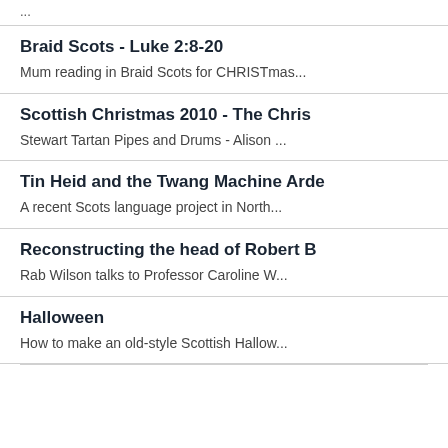...
Braid Scots - Luke 2:8-20
Mum reading in Braid Scots for CHRISTmas...
Scottish Christmas 2010 - The Chris
Stewart Tartan Pipes and Drums - Alison ...
Tin Heid and the Twang Machine Arde
A recent Scots language project in North...
Reconstructing the head of Robert B
Rab Wilson talks to Professor Caroline W...
Halloween
How to make an old-style Scottish Hallow...